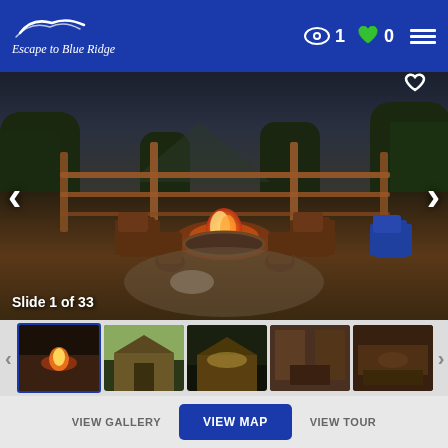[Figure (screenshot): Escape to Blue Ridge website header with logo, eye icon showing 1 view, green heart icon showing 0 favorites, and hamburger menu]
[Figure (photo): Outdoor fire pit surrounded by Adirondack chairs on a wooden deck with a log fence, trees and mountains in background, dramatic cloudy sky. Slide 1 of 33.]
[Figure (photo): Row of five thumbnail images showing the property: fire pit at night, cabin exterior day, cabin exterior night, interior living room, interior room]
[Figure (screenshot): Navigation buttons: VIEW GALLERY, VIEW MAP (active/blue), VIEW TOUR]
[Figure (screenshot): Bottom section with WANDE... text watermark and GET MY QUOTE blue button]